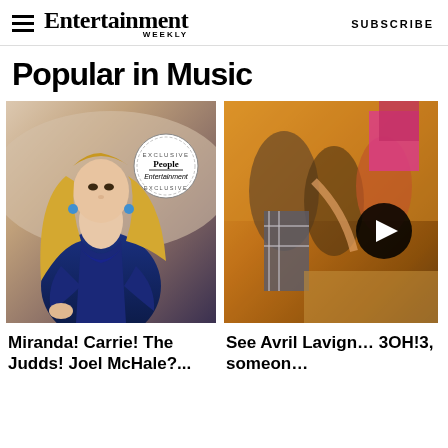Entertainment Weekly — SUBSCRIBE
Popular in Music
[Figure (photo): Miranda Lambert in blue dress with People Entertainment Exclusive badge overlay]
Miranda! Carrie! The Judds! Joel McHale?...
[Figure (photo): Blurry action shot with people, warm orange tones, with circular play/next button overlay. See Avril Lavigne, 3OH!3, someone...]
See Avril Lavigne, 3OH!3, someone...